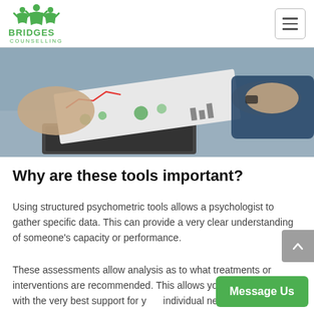BRIDGES COUNSELLING
[Figure (photo): Two people looking at charts and graphs on paper near a laptop; someone pointing at the data.]
Why are these tools important?
Using structured psychometric tools allows a psychologist to gather specific data. This can provide a very clear understanding of someone's capacity or performance.
These assessments allow analysis as to what treatments or interventions are recommended. This allows you to be provided with the very best support for your individual needs.